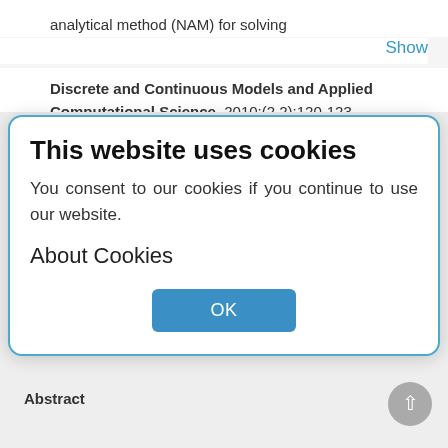analytical method (NAM) for solving
Show
Discrete and Continuous Models and Applied Computational Science. 2010;(2.2):120-123
[Figure (screenshot): Cookie consent modal dialog with title 'This website uses cookies', body text 'You consent to our cookies if you continue to use our website.', 'About Cookies' heading, and an OK button. Behind the modal is a partially visible academic journal page with page numbers 120-123, view count 179, download buttons, and a paper title about Cherenkov RING Parameters.]
CBM Experiment at Fair
Ayriyan A.S., Ivanov V.V., Lebedev S.A., Ososkov G.A., Chernov N.I.
Abstract